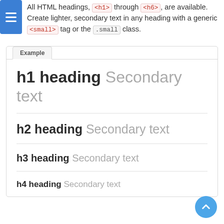All HTML headings, <h1> through <h6>, are available. Create lighter, secondary text in any heading with a generic <small> tag or the .small class.
[Figure (screenshot): Example panel showing h1 heading through h4 heading each with 'Secondary text' in lighter gray beside bold heading text, separated by horizontal rules]
h1 heading Secondary text
h2 heading Secondary text
h3 heading Secondary text
h4 heading Secondary text